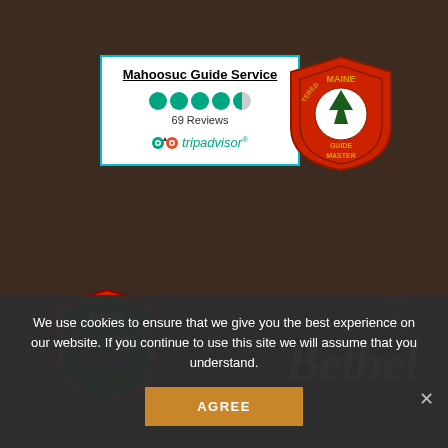[Figure (logo): TripAdvisor widget/box for Mahoosuc Guide Service showing 4.5 bubble rating, 69 Reviews, and TripAdvisor owl logo on white background with teal border]
[Figure (logo): Registered Maine Guide Master badge - red shield shape with pine tree silhouette in center circle and text around border]
[Figure (logo): Maine Wilderness Guides Org shield - green shield with loon/bird on water scene and text around border with red outline]
[Figure (logo): Bethel Maine logo - italic golden/yellow cursive Bethel text with teal tagline 'Maine's most beautiful mountain village' above]
We use cookies to ensure that we give you the best experience on our website. If you continue to use this site we will assume that you understand.